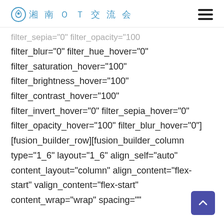湘南ＯＴ交流会
filter_sepia="0" filter_opacity="100" filter_blur="0" filter_hue_hover="0" filter_saturation_hover="100" filter_brightness_hover="100" filter_contrast_hover="100" filter_invert_hover="0" filter_sepia_hover="0" filter_opacity_hover="100" filter_blur_hover="0"][fusion_builder_row][fusion_builder_column type="1_6" layout="1_6" align_self="auto" content_layout="column" align_content="flex-start" valign_content="flex-start" content_wrap="wrap" spacing=""